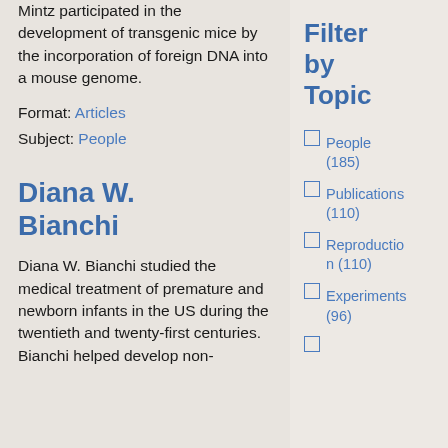Mintz participated in the development of transgenic mice by the incorporation of foreign DNA into a mouse genome.
Format: Articles
Subject: People
Diana W. Bianchi
Diana W. Bianchi studied the medical treatment of premature and newborn infants in the US during the twentieth and twenty-first centuries. Bianchi helped develop non-
Filter by Topic
People (185)
Publications (110)
Reproduction (110)
Experiments (96)